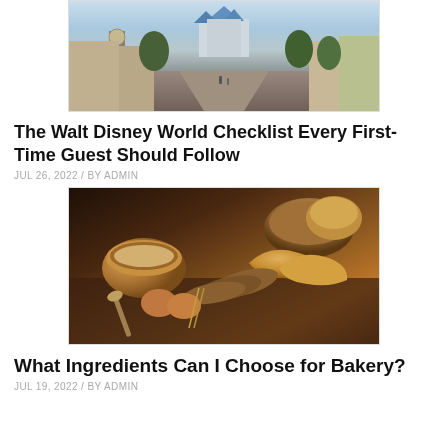[Figure (photo): Photo of Walt Disney World Magic Kingdom main street with castle in background]
The Walt Disney World Checklist Every First-Time Guest Should Follow
JUL 26, 2022 / BY ADMIN
[Figure (photo): Photo of bakery items including croissants, bread, eggs, and a wooden bowl with flour on a rustic table]
What Ingredients Can I Choose for Bakery?
JUL 19, 2022 / BY ADMIN